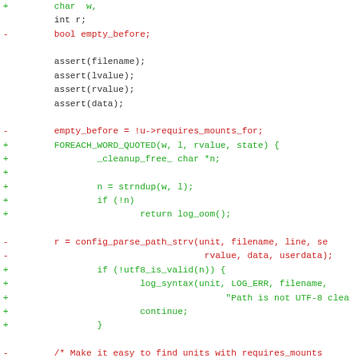[Figure (screenshot): Code diff showing changes to a C source file. Lines marked with '-' in red are removed lines, lines marked with '+' in green are added lines, and unmarked lines in dark color are context lines. The diff shows changes replacing empty_before logic with FOREACH_WORD_QUOTED loop and unit_require_mounts_for function calls.]